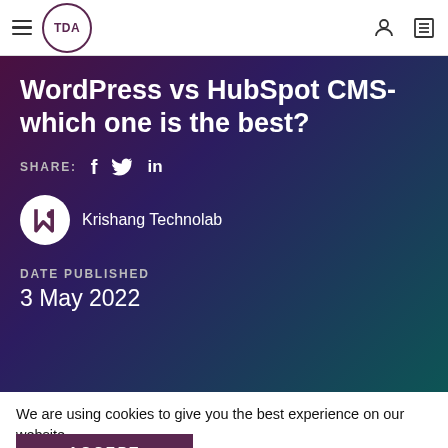TDA [logo] navigation bar with hamburger menu, user icon, and list icon
WordPress vs HubSpot CMS- which one is the best?
SHARE: f  [twitter]  in
Krishang Technolab
DATE PUBLISHED
3 May 2022
We are using cookies to give you the best experience on our website.
You can find out more about which cookies we are using or switch them off in settings.
ACCEPT